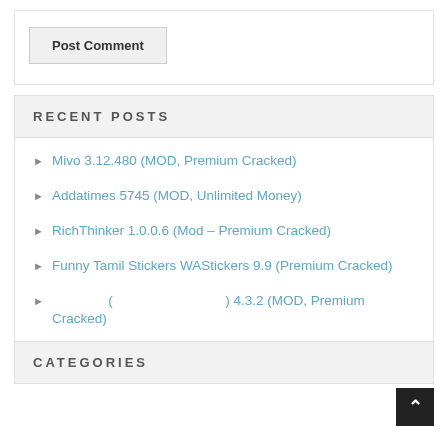Post Comment
RECENT POSTS
Mivo 3.12.480 (MOD, Premium Cracked)
Addatimes 5745 (MOD, Unlimited Money)
RichThinker 1.0.0.6 (Mod – Premium Cracked)
Funny Tamil Stickers WAStickers 9.9 (Premium Cracked)
( ) 4.3.2 (MOD, Premium Cracked)
CATEGORIES